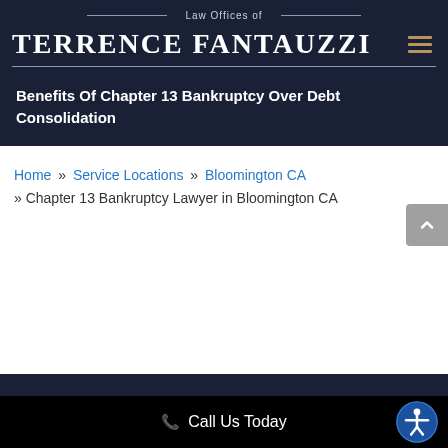Law Offices of Terrence Fantauzzi
Benefits Of Chapter 13 Bankruptcy Over Debt Consolidation
Home » Service Locations » Bloomington CA » Chapter 13 Bankruptcy Lawyer in Bloomington CA
Call Us Today